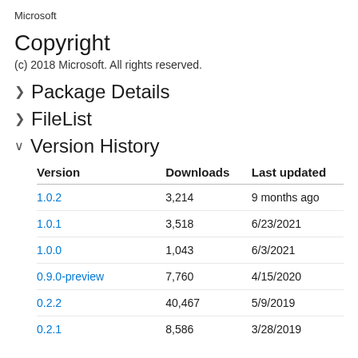Microsoft
Copyright
(c) 2018 Microsoft. All rights reserved.
> Package Details
> FileList
v Version History
| Version | Downloads | Last updated |
| --- | --- | --- |
| 1.0.2 | 3,214 | 9 months ago |
| 1.0.1 | 3,518 | 6/23/2021 |
| 1.0.0 | 1,043 | 6/3/2021 |
| 0.9.0-preview | 7,760 | 4/15/2020 |
| 0.2.2 | 40,467 | 5/9/2019 |
| 0.2.1 | 8,586 | 3/28/2019 |